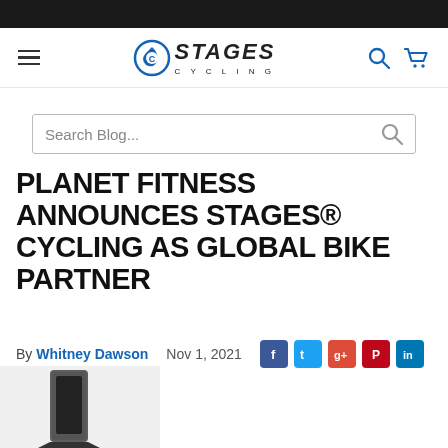Stages Cycling website navigation bar with logo, hamburger menu, search icon, and cart icon
Search Blog...
PLANET FITNESS ANNOUNCES STAGES® CYCLING AS GLOBAL BIKE PARTNER
By Whitney Dawson   Nov 1, 2021
[Figure (photo): Partial image of a Stages Cycling bike unit at bottom left]